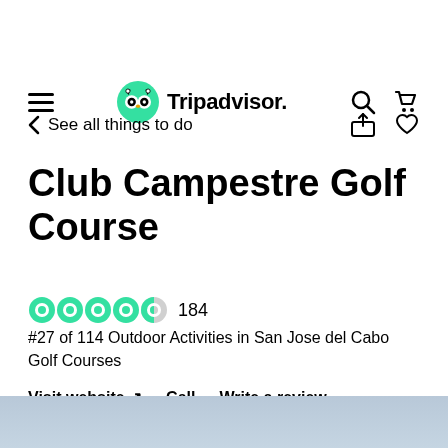[Figure (logo): Tripadvisor logo with owl icon and navigation icons (hamburger menu, search, cart)]
< See all things to do
Club Campestre Golf Course
[Figure (other): 4.5 green bubble rating circles out of 5, with review count 184]
#27 of 114 Outdoor Activities in San Jose del Cabo Golf Courses
Visit website ↗   Call   Write a review
[Figure (photo): Blue-grey landscape photo strip at the bottom of the page]